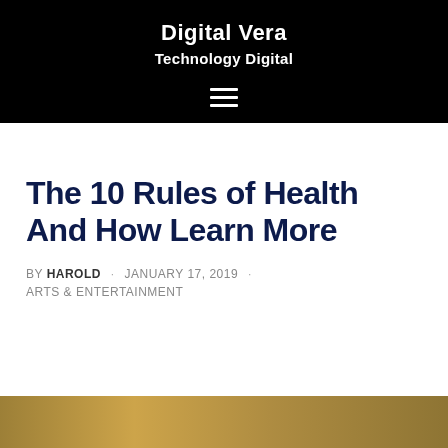Digital Vera
Technology Digital
[Figure (other): Hamburger menu icon (three horizontal lines)]
The 10 Rules of Health And How Learn More
BY HAROLD · JANUARY 17, 2019 · ARTS & ENTERTAINMENT